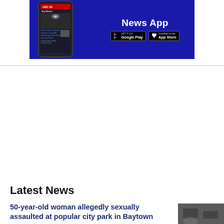[Figure (screenshot): Advertisement banner for a News App on a dark blue background, showing a smartphone with a news story headline 'Photo shows vehicle of interest in deadly shooting of Fort Bend County father', with Google Play and App Store download buttons.]
Latest News
50-year-old woman allegedly sexually assaulted at popular city park in Baytown
[Figure (photo): Thumbnail image, blurred/dark, associated with the news story about sexual assault in Baytown.]